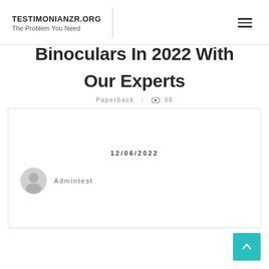TESTIMONIANZR.ORG
The Problem You Need
Binoculars In 2022 With Our Experts
Paperback | 98
12/06/2022
Admintest